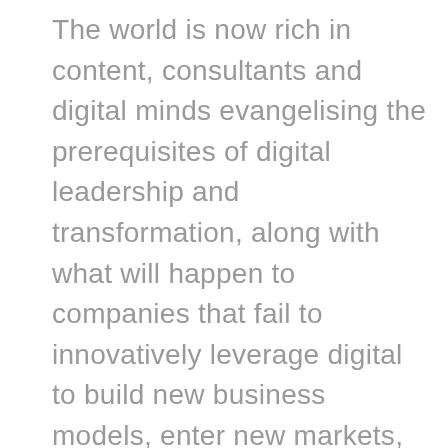The world is now rich in content, consultants and digital minds evangelising the prerequisites of digital leadership and transformation, along with what will happen to companies that fail to innovatively leverage digital to build new business models, enter new markets, and become less susceptible to disruption. It's common knowledge among many in the business of transformation that culture, leadership, strategy organisational structures and talent, data, innovation, digital and transformation management capabilities, brand, governance, digital